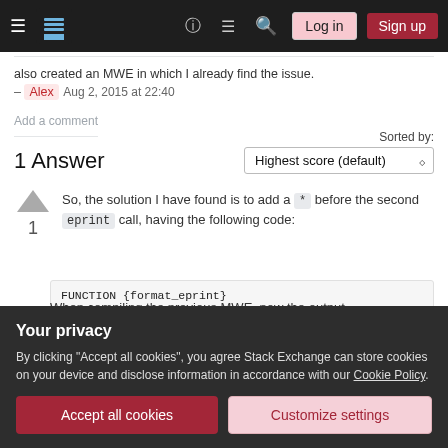Stack Exchange navigation bar with Log in and Sign up buttons
also created an MWE in which I already find the issue.
– Alex  Aug 2, 2015 at 22:40
Add a comment
1 Answer
Sorted by: Highest score (default)
So, the solution I have found is to add a * before the second eprint call, having the following code:
1
FUNCTION {format_eprint}
Your privacy
By clicking "Accept all cookies", you agree Stack Exchange can store cookies on your device and disclose information in accordance with our Cookie Policy.
Accept all cookies  Customize settings
When compiling the previous MWE, now the output